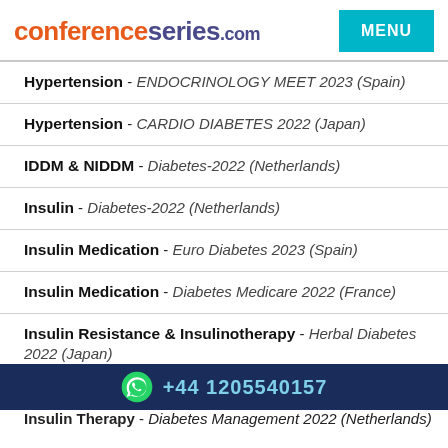conferenceseries.com
Hypertension - ENDOCRINOLOGY MEET 2023 (Spain)
Hypertension - CARDIO DIABETES 2022 (Japan)
IDDM & NIDDM - Diabetes-2022 (Netherlands)
Insulin - Diabetes-2022 (Netherlands)
Insulin Medication - Euro Diabetes 2023 (Spain)
Insulin Medication - Diabetes Medicare 2022 (France)
Insulin Resistance & Insulinotherapy - Herbal Diabetes 2022 (Japan)
Insulin Signalling, Action and Secretion - DIABETIC 2022
+44 1205540157
Insulin Therapy - Diabetes Management 2022 (Netherlands)